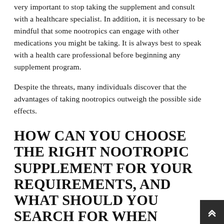very important to stop taking the supplement and consult with a healthcare specialist. In addition, it is necessary to be mindful that some nootropics can engage with other medications you might be taking. It is always best to speak with a health care professional before beginning any supplement program.
Despite the threats, many individuals discover that the advantages of taking nootropics outweigh the possible side effects.
HOW CAN YOU CHOOSE THE RIGHT NOOTROPIC SUPPLEMENT FOR YOUR REQUIREMENTS, AND WHAT SHOULD YOU SEARCH FOR WHEN ACQUIRING ONE?